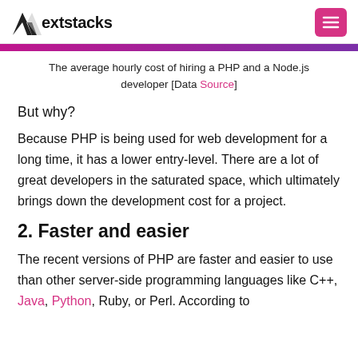Nextstacks
The average hourly cost of hiring a PHP and a Node.js developer [Data Source]
But why?
Because PHP is being used for web development for a long time, it has a lower entry-level. There are a lot of great developers in the saturated space, which ultimately brings down the development cost for a project.
2. Faster and easier
The recent versions of PHP are faster and easier to use than other server-side programming languages like C++, Java, Python, Ruby, or Perl. According to